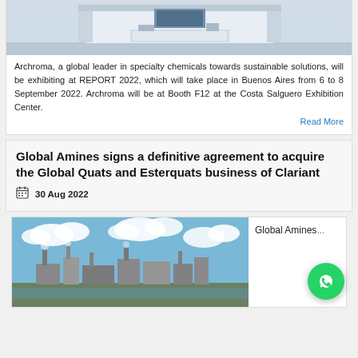[Figure (photo): Exhibition booth rendering showing a modern white display stand]
Archroma, a global leader in specialty chemicals towards sustainable solutions, will be exhibiting at REPORT 2022, which will take place in Buenos Aires from 6 to 8 September 2022. Archroma will be at Booth F12 at the Costa Salguero Exhibition Center.
Read More
Global Amines signs a definitive agreement to acquire the Global Quats and Esterquats business of Clariant
30 Aug 2022
[Figure (photo): Industrial chemical plant with blue sky and clouds in background]
Global Amines